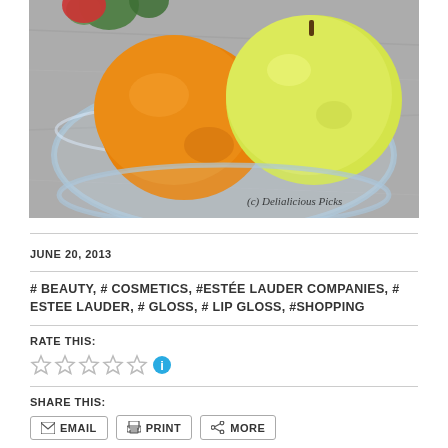[Figure (photo): Photo of oranges and a yellow apple/lemon in a clear glass bowl on a granite surface, with a watermark '(c) Delialicious Picks' in the lower right corner]
JUNE 20, 2013
# BEAUTY, # COSMETICS, #ESTÉE LAUDER COMPANIES, # ESTEE LAUDER, # GLOSS, # LIP GLOSS, #SHOPPING
RATE THIS:
SHARE THIS:
LIKE THIS: